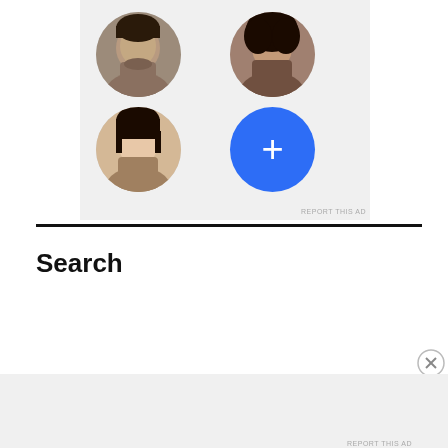[Figure (screenshot): Ad unit showing a 2x2 grid of circular profile photos (two people and a blue plus button) on a light gray background. REPORT THIS AD label at bottom right.]
Search
[Figure (screenshot): Search input box (empty text field) with a black SEARCH button to the right.]
[Figure (screenshot): Advertisement block. Label: Advertisements. Blue bar. White box with text: The Platform Where WordPress Works Best. Pressable logo on the right. REPORT THIS AD label at bottom right.]